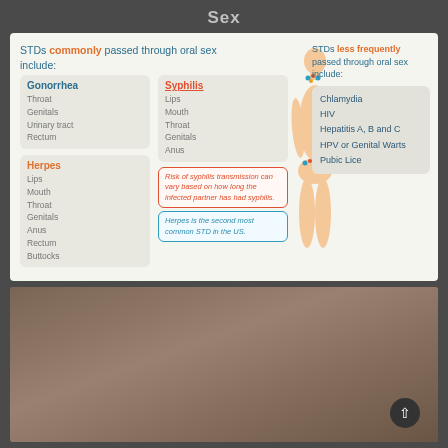Sex
[Figure (infographic): Medical infographic about STDs passed through oral sex. Shows body figure, lists for Gonorrhea (Throat, Genitals, Urinary tract, Rectum), Syphilis (Lips, Mouth, Throat, Genitals, Anus), Herpes (Lips, Mouth, Throat, Genitals, Anus, Rectum, Buttocks), plus notes about syphilis transmission risk and Herpes being second most common STD in the US. Right side lists less frequently passed STDs: Chlamydia, HIV, Hepatitis A B and C, HPV or Genital Warts, Pubic Lice.]
[Figure (photo): Photo with meendo.com logo watermark]